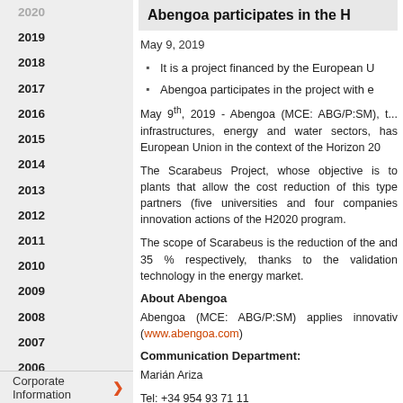2020
2019
2018
2017
2016
2015
2014
2013
2012
2011
2010
2009
2008
2007
2006
2005
2004
2003
2002
Corporate Information
Abengoa participates in the H...
May 9, 2019
It is a project financed by the European U...
Abengoa participates in the project with e...
May 9th, 2019 - Abengoa (MCE: ABG/P:SM), t... infrastructures, energy and water sectors, has... European Union in the context of the Horizon 20...
The Scarabeus Project, whose objective is to... plants that allow the cost reduction of this type... partners (five universities and four companies)... innovation actions of the H2020 program.
The scope of Scarabeus is the reduction of the... and 35 % respectively, thanks to the validation... technology in the energy market.
About Abengoa
Abengoa (MCE: ABG/P:SM) applies innovati... (www.abengoa.com)
Communication Department:
Marián Ariza
Tel: +34 954 93 71 11